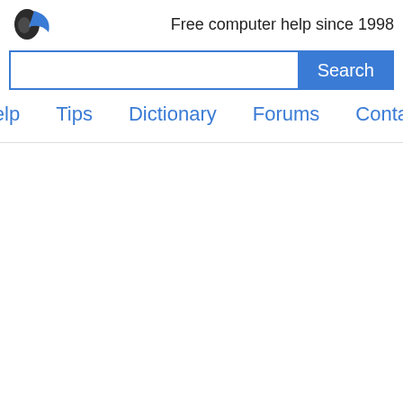[Figure (logo): Website logo: partial bird/flame icon in blue and dark colors]
Free computer help since 1998
[Figure (screenshot): Search input box with blue border and a blue Search button]
Help   Tips   Dictionary   Forums   Contact